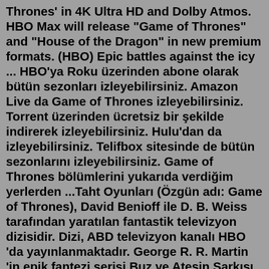Thrones' in 4K Ultra HD and Dolby Atmos. HBO Max will release "Game of Thrones" and "House of the Dragon" in new premium formats. (HBO) Epic battles against the icy ... HBO'ya Roku üzerinden abone olarak bütün sezonları izleyebilirsiniz. Amazon Live da Game of Thrones izleyebilirsiniz. Torrent üzerinden ücretsiz bir şekilde indirerek izleyebilirsiniz. Hulu'dan da izleyebilirsiniz. Telifbox sitesinde de bütün sezonlarını izleyebilirsiniz. Game of Thrones bölümlerini yukarıda verdiğim yerlerden ...Taht Oyunları (Özgün adı: Game of Thrones), David Benioff ile D. B. Weiss tarafından yaratılan fantastik televizyon dizisidir. Dizi, ABD televizyon kanalı HBO 'da yayınlanmaktadır. George R. R. Martin 'in epik fantezi serisi Buz ve Ateşin Şarkısı 'na dayanmakta olan dizi, adını serinin ilk kitabından almaktadır. Kuzey İrlanda, Malta, Hırvatistan, İzlanda ve Fas'taki ...The following is every single credited cast member in season 1 of HBO's Game of Thrones. 1. Sean Bean. Sean Bean's career since the eighties spans theatre, radio, television and movies.